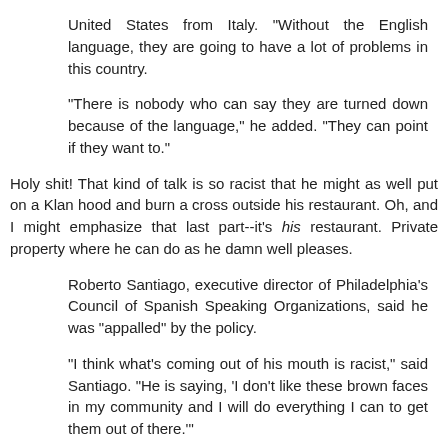United States from Italy. "Without the English language, they are going to have a lot of problems in this country.
"There is nobody who can say they are turned down because of the language," he added. "They can point if they want to."
Holy shit! That kind of talk is so racist that he might as well put on a Klan hood and burn a cross outside his restaurant. Oh, and I might emphasize that last part--it's his restaurant. Private property where he can do as he damn well pleases.
Roberto Santiago, executive director of Philadelphia's Council of Spanish Speaking Organizations, said he was "appalled" by the policy.
"I think what's coming out of his mouth is racist," said Santiago. "He is saying, 'I don't like these brown faces in my community and I will do everything I can to get them out of there.'"